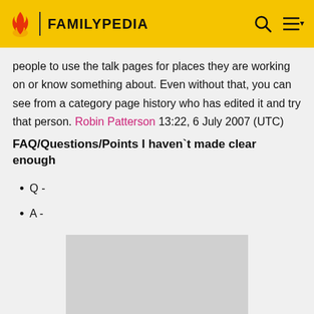FAMILYPEDIA
people to use the talk pages for places they are working on or know something about. Even without that, you can see from a category page history who has edited it and try that person. Robin Patterson 13:22, 6 July 2007 (UTC)
FAQ/Questions/Points I haven`t made clear enough
Q -
A -
[Figure (other): Gray placeholder rectangle]